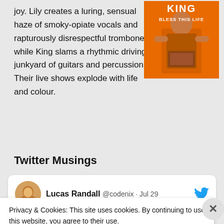joy. Lily creates a luring, sensual haze of smoky-opiate vocals and rapturously disrespectful trombone, while King slams a rhythmic driving junkyard of guitars and percussion. Their live shows explode with life and colour.
[Figure (illustration): Album cover image showing a person on an orange background with the text 'KING BLESS THIS LIFE']
Twitter Musings
Lucas Randall @codenix · Jul 29
Privacy & Cookies: This site uses cookies. By continuing to use this website, you agree to their use.
To find out more, including how to control cookies, see here: Cookie Policy
Close and accept